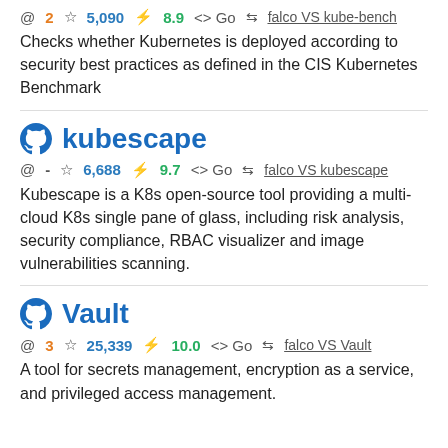@ 2  ☆ 5,090  ⚡ 8.9  <> Go  ⇄ falco VS kube-bench
Checks whether Kubernetes is deployed according to security best practices as defined in the CIS Kubernetes Benchmark
kubescape
@ -  ☆ 6,688  ⚡ 9.7  <> Go  ⇄ falco VS kubescape
Kubescape is a K8s open-source tool providing a multi-cloud K8s single pane of glass, including risk analysis, security compliance, RBAC visualizer and image vulnerabilities scanning.
Vault
@ 3  ☆ 25,339  ⚡ 10.0  <> Go  ⇄ falco VS Vault
A tool for secrets management, encryption as a service, and privileged access management.